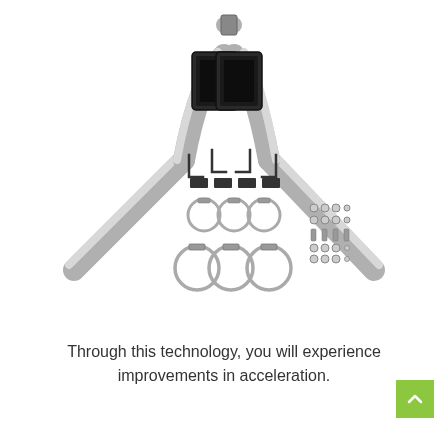[Figure (photo): Dual exhaust pipe system with black rectangular tips, multiple mounting brackets, rubber isolators, and band clamps spread out on white background — a complete cat-back or axle-back exhaust kit.]
Through this technology, you will experience improvements in acceleration.